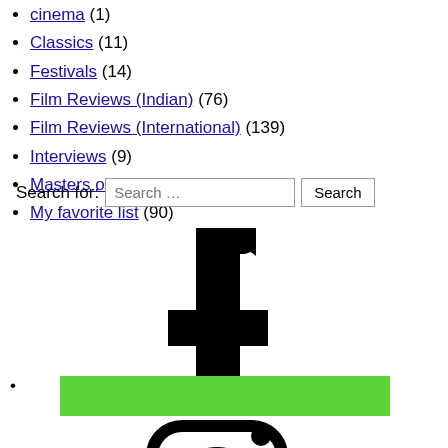cinema (1)
Classics (11)
Festivals (14)
Film Reviews (Indian) (76)
Film Reviews (International) (139)
Interviews (9)
Masters of the trade (12)
My favorite list (90)
Search for:
[Figure (logo): Facebook logo (black 'f' letterform) with a green horizontal bar overlaid, followed by Instagram logo (camera outline with circle and dot)]